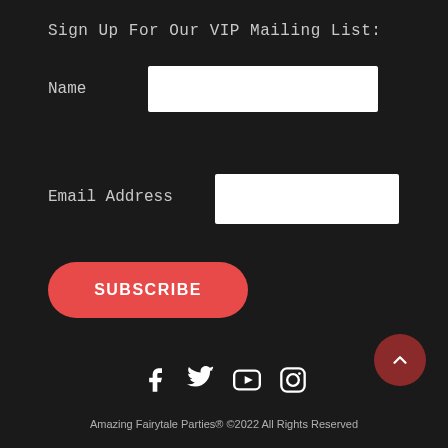Sign Up For Our VIP Mailing List:
Name
Email Address
SUBSCRIBE
[Figure (illustration): Social media icons row: Facebook, Twitter, YouTube, Instagram]
Amazing Fairytale Parties® ©2022 All Rights Reserved